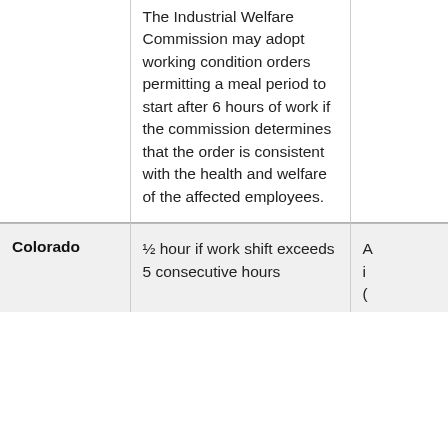| State | Meal Period | Additional Info |
| --- | --- | --- |
|  | The Industrial Welfare Commission may adopt working condition orders permitting a meal period to start after 6 hours of work if the commission determines that the order is consistent with the health and welfare of the affected employees. |  |
| Colorado | ½ hour if work shift exceeds 5 consecutive hours | A i ( |